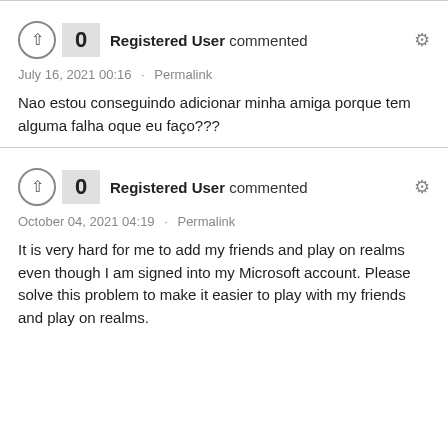Registered User commented — July 16, 2021 00:16 · Permalink — Nao estou conseguindo adicionar minha amiga porque tem alguma falha oque eu faço???
Registered User commented — October 04, 2021 04:19 · Permalink — It is very hard for me to add my friends and play on realms even though I am signed into my Microsoft account. Please solve this problem to make it easier to play with my friends and play on realms.